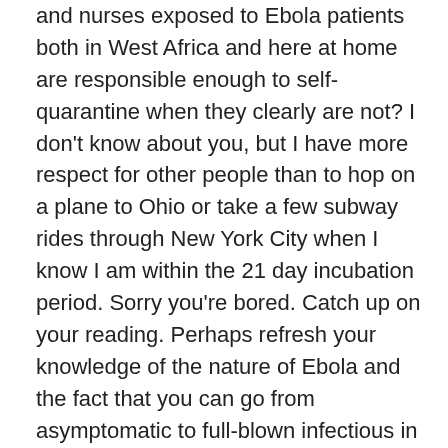and nurses exposed to Ebola patients both in West Africa and here at home are responsible enough to self-quarantine when they clearly are not? I don’t know about you, but I have more respect for other people than to hop on a plane to Ohio or take a few subway rides through New York City when I know I am within the 21 day incubation period. Sorry you’re bored. Catch up on your reading. Perhaps refresh your knowledge of the nature of Ebola and the fact that you can go from asymptomatic to full-blown infectious in a New York minute. Just a suggestion…
Perhaps the actions of the doctors and nurses who went to West Africa (or the nurse from Dallas who tended to Mr. Duncan) could be considered heroic. However, the “heroism” ends there. I see nothing heroic in not showing their fellow citizens the same respect and concern by disregarding all they know